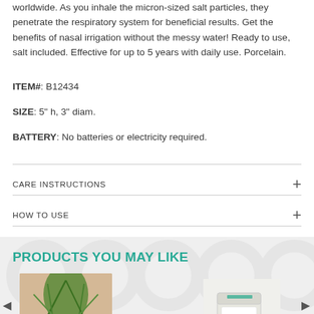worldwide. As you inhale the micron-sized salt particles, they penetrate the respiratory system for beneficial results. Get the benefits of nasal irrigation without the messy water! Ready to use, salt included. Effective for up to 5 years with daily use. Porcelain.
ITEM#: B12434
SIZE: 5" h, 3" diam.
BATTERY: No batteries or electricity required.
CARE INSTRUCTIONS
HOW TO USE
PRODUCTS YOU MAY LIKE
[Figure (photo): Product photo of a plant in a white container]
[Figure (photo): Product photo of a white box product]